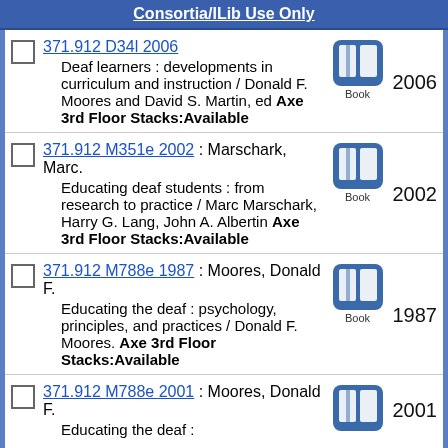Consortia/ILib Use Only
371.912 D34l 2006 Deaf learners : developments in curriculum and instruction / Donald F. Moores and David S. Martin, ed Axe 3rd Floor Stacks:Available 2006 Book
371.912 M351e 2002 : Marschark, Marc. Educating deaf students : from research to practice / Marc Marschark, Harry G. Lang, John A. Albertin Axe 3rd Floor Stacks:Available 2002 Book
371.912 M788e 1987 : Moores, Donald F. Educating the deaf : psychology, principles, and practices / Donald F. Moores. Axe 3rd Floor Stacks:Available 1987 Book
371.912 M788e 2001 : Moores, Donald F. Educating the deaf : 2001 Book